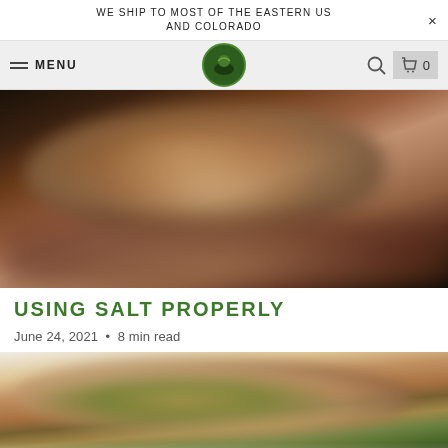WE SHIP TO MOST OF THE EASTERN US AND COLORADO
[Figure (screenshot): Website navigation bar with hamburger menu, MENU text, circular logo, search icon, and cart icon with 0]
[Figure (photo): Blurred close-up photo of a seasoned raw steak or meat on a dark background]
USING SALT PROPERLY
June 24, 2021 • 8 min read
[Figure (photo): Blurred close-up photo of a cooked meat dish with green herbs/vegetables on top]